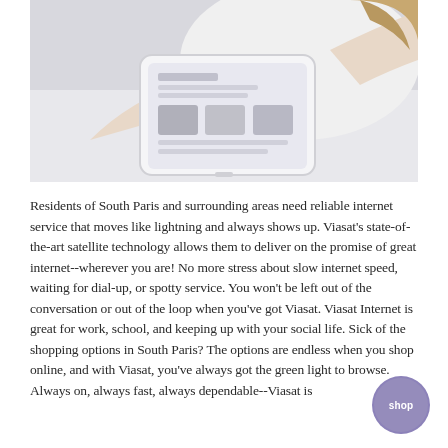[Figure (photo): Overhead view of a woman in a white long-sleeve shirt holding a white tablet/iPad, browsing content on the screen. Shot from above on a white surface.]
Residents of South Paris and surrounding areas need reliable internet service that moves like lightning and always shows up. Viasat's state-of-the-art satellite technology allows them to deliver on the promise of great internet--wherever you are! No more stress about slow internet speed, waiting for dial-up, or spotty service. You won't be left out of the conversation or out of the loop when you've got Viasat. Viasat Internet is great for work, school, and keeping up with your social life. Sick of the shopping options in South Paris? The options are endless when you shop online, and with Viasat, you've always got the green light to browse. Always on, always fast, always dependable--Viasat is always there for you in South Paris. No more waiting!